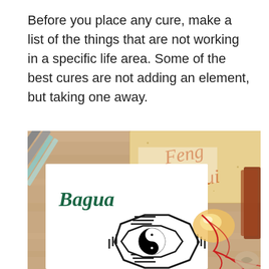Before you place any cure, make a list of the things that are not working in a specific life area. Some of the best cures are not adding an element, but taking one away.
[Figure (photo): Photo of Feng Shui and Bagua materials on a wooden surface, including pencils, a paper with 'Feng Shui' written in orange cursive, a paper with 'Bagua' written in dark teal, a Bagua octagonal symbol with a yin-yang center, a crystal stone, and a red ribbon, with orange paint splashes.]